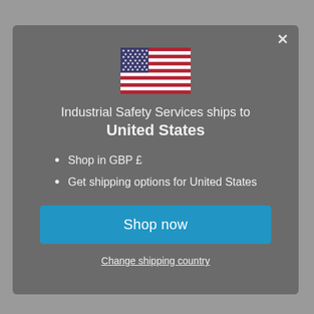[Figure (illustration): US flag icon centered at the top of the modal dialog]
Industrial Safety Services ships to United States
Shop in GBP £
Get shipping options for United States
Shop now
Change shipping country